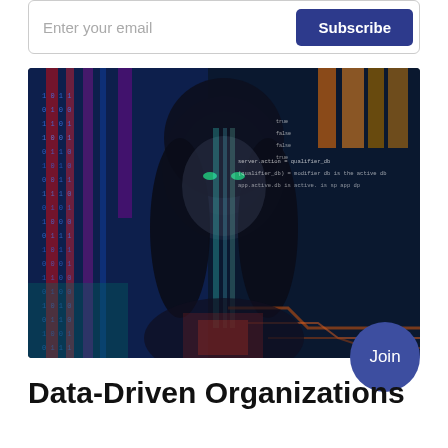Enter your email
Subscribe
[Figure (photo): A woman's face with colorful digital data code and binary numbers projected over her, set against a dark tech-themed background with blues, reds, and yellows]
Join
Data-Driven Organizations